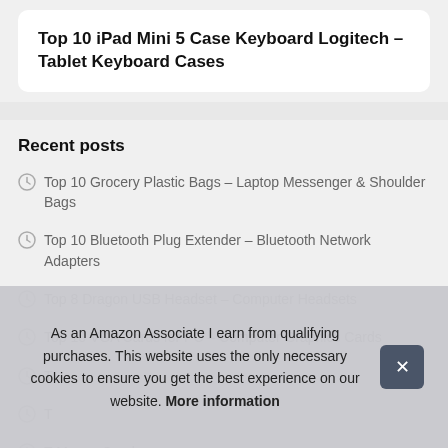Top 10 iPad Mini 5 Case Keyboard Logitech – Tablet Keyboard Cases
Recent posts
Top 10 Grocery Plastic Bags – Laptop Messenger & Shoulder Bags
Top 10 Bluetooth Plug Extender – Bluetooth Network Adapters
Top 8 Dragon USB Headset – Computer Headsets
Top 10 VGA Cards for PC – Computer Graphics Cards
T
T
T Mouse Combos
As an Amazon Associate I earn from qualifying purchases. This website uses the only necessary cookies to ensure you get the best experience on our website. More information